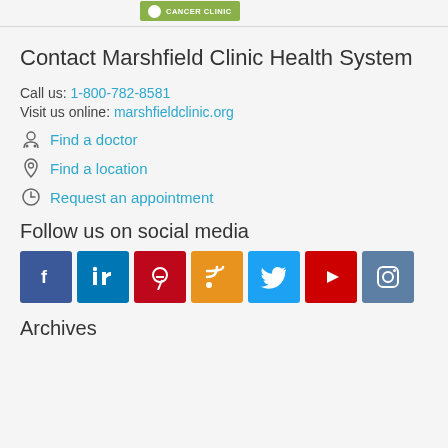[Figure (logo): Marshfield Clinic logo button in olive/green color at top]
Contact Marshfield Clinic Health System
Call us: 1-800-782-8581
Visit us online: marshfieldclinic.org
Find a doctor
Find a location
Request an appointment
Follow us on social media
[Figure (illustration): Row of social media icons: Facebook, LinkedIn, Pinterest, RSS, Twitter, YouTube, Instagram]
Archives